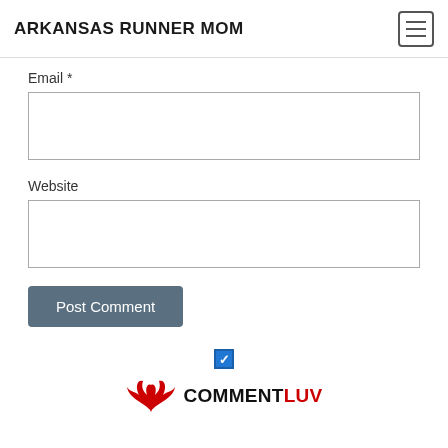ARKANSAS RUNNER MOM
Email *
Website
Post Comment
[Figure (logo): CommentLuv logo with a red winged icon and the text COMMENTLUV in black and red, with a checked blue checkbox above it]